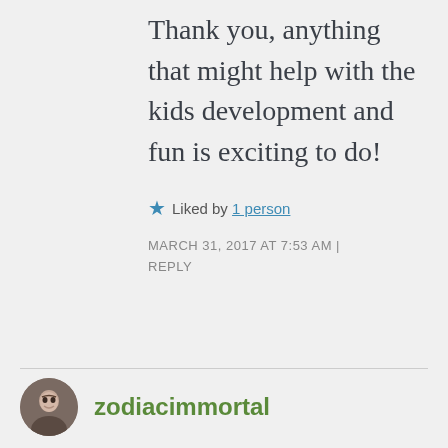Thank you, anything that might help with the kids development and fun is exciting to do!
★ Liked by 1 person
MARCH 31, 2017 AT 7:53 AM | REPLY
zodiacimmortal